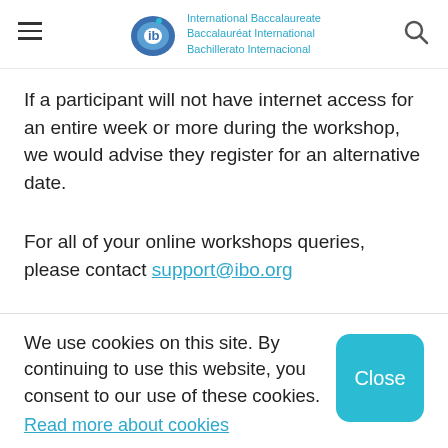International Baccalaureate Baccalauréat International Bachillerato Internacional
If a participant will not have internet access for an entire week or more during the workshop, we would advise they register for an alternative date.
For all of your online workshops queries, please contact support@ibo.org
We use cookies on this site. By continuing to use this website, you consent to our use of these cookies. Read more about cookies